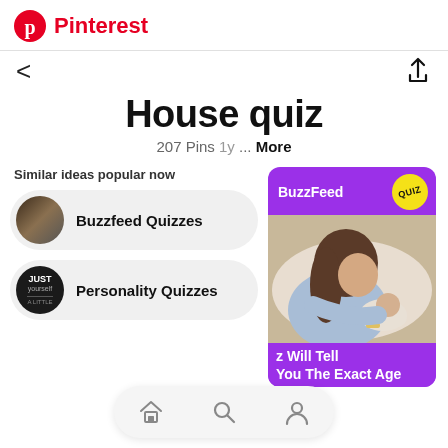Pinterest
House quiz
207 Pins 1y ... More
Similar ideas popular now
Buzzfeed Quizzes
Personality Quizzes
[Figure (screenshot): BuzzFeed quiz card with purple background, QUIZ badge, photo of woman holding baby, text reading 'z Will Tell You The Exact Age']
z Will Tell You The Exact Age